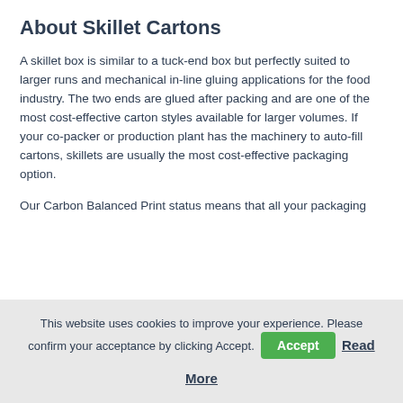About Skillet Cartons
A skillet box is similar to a tuck-end box but perfectly suited to larger runs and mechanical in-line gluing applications for the food industry. The two ends are glued after packing and are one of the most cost-effective carton styles available for larger volumes. If your co-packer or production plant has the machinery to auto-fill cartons, skillets are usually the most cost-effective packaging option.
Our Carbon Balanced Print status means that all your packaging
This website uses cookies to improve your experience. Please confirm your acceptance by clicking Accept. Accept Read More